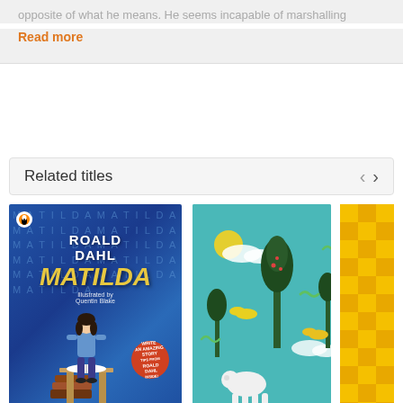opposite of what he means. He seems incapable of marshalling
Read more
Related titles
[Figure (illustration): Book cover of Roald Dahl's Matilda, illustrated by Quentin Blake. Blue background with large white text 'ROALD DAHL' and yellow italic text 'MATILDA'. A girl figure reading a book at bottom. Red circular sticker reading 'Write an Amazing Story, Tips from Roald Dahl inside'.]
[Figure (illustration): Teal colored book cover with illustrated trees, birds, sun, clouds, and a white animal (sheep/pig) on a scenic background.]
[Figure (illustration): Yellow and orange checkered/grid pattern book cover, partially visible on right edge.]